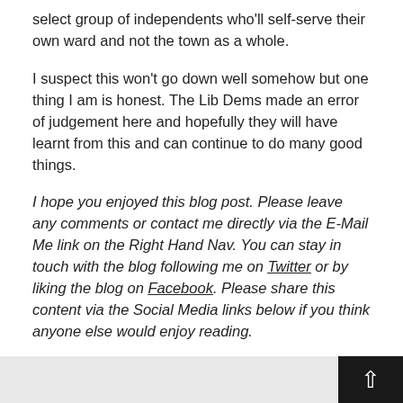select group of independents who'll self-serve their own ward and not the town as a whole.
I suspect this won't go down well somehow but one thing I am is honest. The Lib Dems made an error of judgement here and hopefully they will have learnt from this and can continue to do many good things.
I hope you enjoyed this blog post. Please leave any comments or contact me directly via the E-Mail Me link on the Right Hand Nav. You can stay in touch with the blog following me on Twitter or by liking the blog on Facebook. Please share this content via the Social Media links below if you think anyone else would enjoy reading.